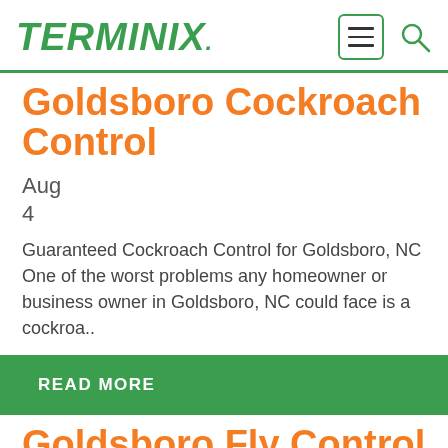TERMINIX.
Goldsboro Cockroach Control
Aug
4
Guaranteed Cockroach Control for Goldsboro, NC One of the worst problems any homeowner or business owner in Goldsboro, NC could face is a cockroa..
READ MORE
Goldsboro Fly Control